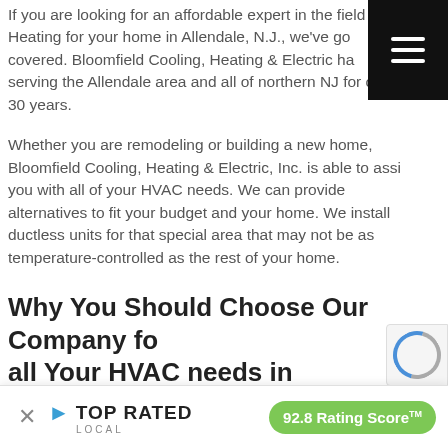If you are looking for an affordable expert in the field of Heating for your home in Allendale, N.J., we've got you covered. Bloomfield Cooling, Heating & Electric has been serving the Allendale area and all of northern NJ for over 30 years.
Whether you are remodeling or building a new home, Bloomfield Cooling, Heating & Electric, Inc. is able to assist you with all of your HVAC needs. We can provide alternatives to fit your budget and your home. We install ductless units for that special area that may not be as temperature-controlled as the rest of your home.
Why You Should Choose Our Company for all Your HVAC needs in Allendale, NJ
We are full service licensed and insured company. All of our technicians are factory certified and all of our electricians are licensed. We also offer service contracts for general maintenance...
[Figure (other): Top Rated Local banner overlay with close button, bird logo, TOP RATED LOCAL text, and 92.8 Rating Score badge in green]